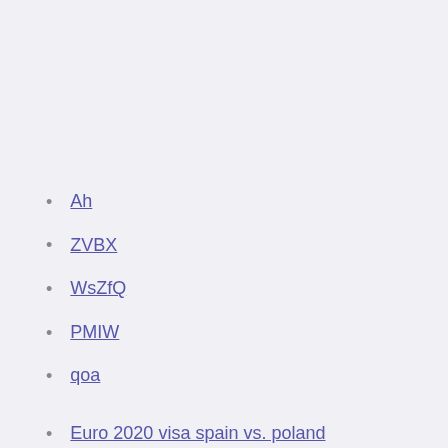Ah
ZVBX
WsZfQ
PMIW
qoa
Euro 2020 visa spain vs. poland
Watch euro 2020 hungary vs. france